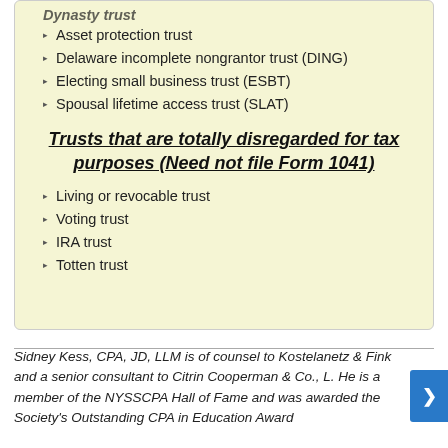Asset protection trust
Delaware incomplete nongrantor trust (DING)
Electing small business trust (ESBT)
Spousal lifetime access trust (SLAT)
Trusts that are totally disregarded for tax purposes (Need not file Form 1041)
Living or revocable trust
Voting trust
IRA trust
Totten trust
Sidney Kess, CPA, JD, LLM is of counsel to Kostelanetz & Fink and a senior consultant to Citrin Cooperman & Co., L. He is a member of the NYSSCPA Hall of Fame and was awarded the Society's Outstanding CPA in Education Award